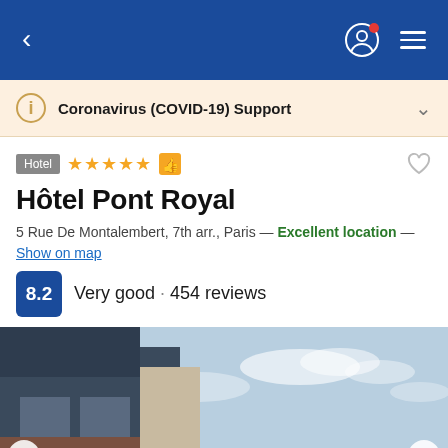< [navigation bar with profile icon and menu]
Coronavirus (COVID-19) Support
Hotel ★★★★★ [thumbs up icon] [heart icon]
Hôtel Pont Royal
5 Rue De Montalembert, 7th arr., Paris — Excellent location — Show on map
8.2 Very good · 454 reviews
[Figure (photo): Exterior photo of Hôtel Pont Royal showing building facade against a partly cloudy sky]